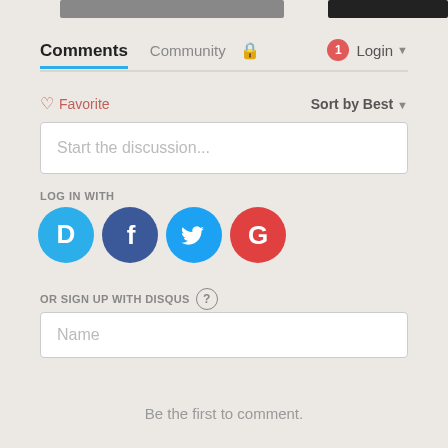[Figure (screenshot): Top bar with two dark image/button placeholders]
Comments  Community  🔒  1  Login ▾
♡ Favorite    Sort by Best ▾
Start the discussion...
LOG IN WITH
[Figure (infographic): Social login icons: Disqus (blue D), Facebook (dark blue f), Twitter (blue bird), Google (red G)]
OR SIGN UP WITH DISQUS ?
Name
Be the first to comment.